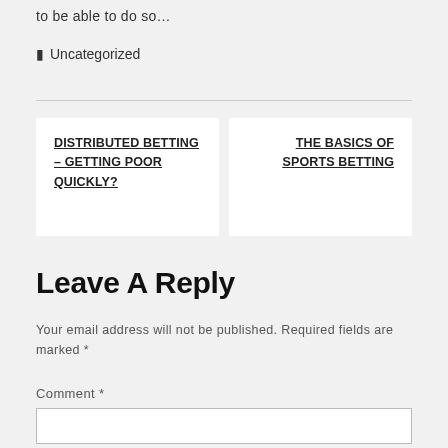to be able to do so…
🔖 Uncategorized
DISTRIBUTED BETTING – GETTING POOR QUICKLY?
THE BASICS OF SPORTS BETTING
Leave A Reply
Your email address will not be published. Required fields are marked *
Comment *